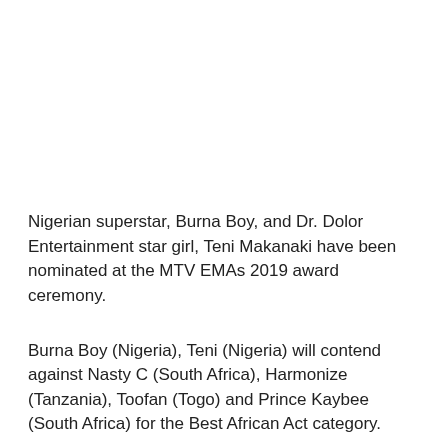Nigerian superstar, Burna Boy, and Dr. Dolor Entertainment star girl, Teni Makanaki have been nominated at the MTV EMAs 2019 award ceremony.
Burna Boy (Nigeria), Teni (Nigeria) will contend against Nasty C (South Africa), Harmonize (Tanzania), Toofan (Togo) and Prince Kaybee (South Africa) for the Best African Act category.
The award ceremony will be held at the FIBES Conference and Exhibition Centre in Seville, Andalusia, Spain on Sunday, 3th of November.